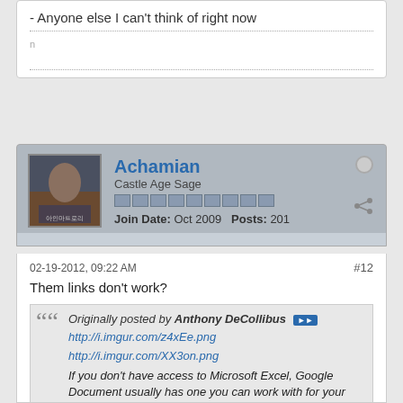- Anyone else I can't think of right now
Achamian
Castle Age Sage
Join Date: Oct 2009  Posts: 201
02-19-2012, 09:22 AM
#12
Them links don't work?
Originally posted by Anthony DeCollibus
http://i.imgur.com/z4xEe.png
http://i.imgur.com/XX3on.png
If you don't have access to Microsoft Excel, Google Document usually has one you can work with for your guild. For the parts erased just put your stats.